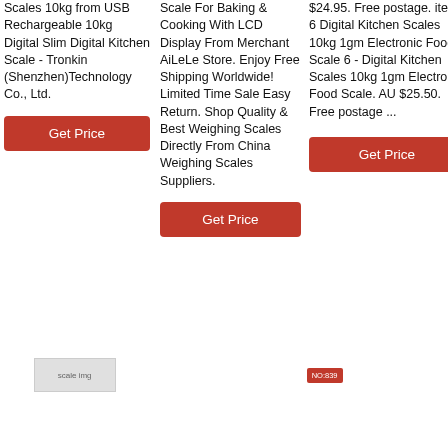Scales 10kg from USB Rechargeable 10kg Digital Slim Digital Kitchen Scale - Tronkin (Shenzhen)Technology Co., Ltd.
Scale For Baking & Cooking With LCD Display From Merchant AiLeLe Store. Enjoy Free Shipping Worldwide! Limited Time Sale Easy Return. Shop Quality & Best Weighing Scales Directly From China Weighing Scales Suppliers.
$24.95. Free postage. item 6 Digital Kitchen Scales 10kg 1gm Electronic Food Scale 6 - Digital Kitchen Scales 10kg 1gm Electronic Food Scale. AU $25.50. Free postage ...
Get Price
Get Price
Get Price